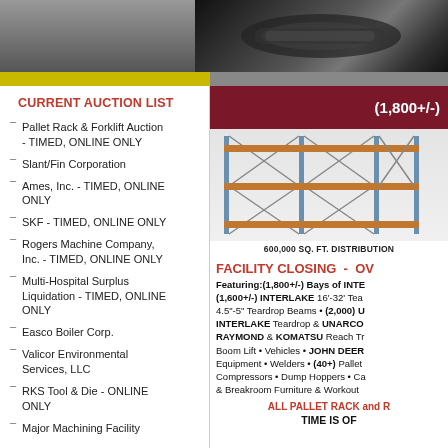[Figure (photo): Dark gray metallic tool/machinery part photo at top of page]
CURRENT AUCTION LIST
Pallet Rack & Forklift Auction - TIMED, ONLINE ONLY
Slant/Fin Corporation
Ames, Inc. - TIMED, ONLINE ONLY
SKF - TIMED, ONLINE ONLY
Rogers Machine Company, Inc. - TIMED, ONLINE ONLY
Multi-Hospital Surplus Liquidation - TIMED, ONLINE ONLY
Easco Boiler Corp.
Valicor Environmental Services, LLC
RKS Tool & Die - ONLINE ONLY
Major Machining Facility
[Figure (other): Dark red/maroon banner showing (1,800+/-)]
[Figure (photo): Pallet rack shelving system photo]
600,000 SQ. FT. DISTRIBUTION
FACILITY CLOSING - OV
Featuring:(1,800+/-) Bays of INTE (1,600+/-) INTERLAKE 16'-32' Tea 4.5"-5" Teardrop Beams • (2,000) U INTERLAKE Teardrop & UNARCO RAYMOND & KOMATSU Reach T Boom Lift • Vehicles • JOHN DEER Equipment • Welders • (40+) Pallet Compressors • Dump Hoppers • Ca & Breakroom Furniture & Workout
ALL PALLET RACK and R TIME IS OF